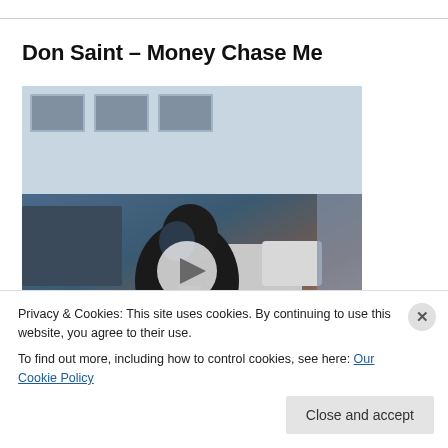Don Saint – Money Chase Me
[Figure (photo): Video thumbnail showing a man sitting on a bed in a dimly lit room with blue lighting. A white translucent play button is centered on the image.]
Privacy & Cookies: This site uses cookies. By continuing to use this website, you agree to their use.
To find out more, including how to control cookies, see here: Our Cookie Policy
Close and accept